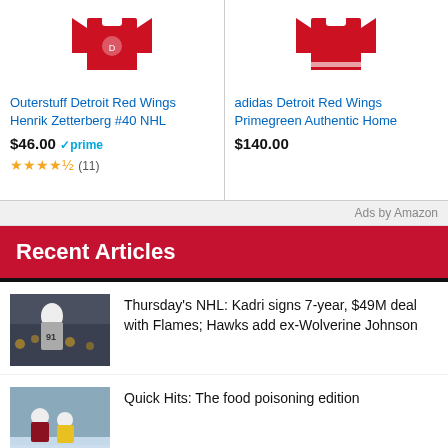[Figure (photo): Outerstuff Detroit Red Wings hockey jersey product image (red jersey)]
Outerstuff Detroit Red Wings Henrik Zetterberg #40 NHL
$46.00 ✓prime ★★★★½ (11)
[Figure (photo): adidas Detroit Red Wings Primegreen Authentic Home hockey jersey product image (red jersey)]
adidas Detroit Red Wings Primegreen Authentic Home
$140.00
Ads by Amazon
Recent Articles
[Figure (photo): Hockey player wearing #91 jersey, Colorado Avalanche]
Thursday's NHL: Kadri signs 7-year, $49M deal with Flames; Hawks add ex-Wolverine Johnson
[Figure (photo): Hockey players on ice, international game]
Quick Hits: The food poisoning edition